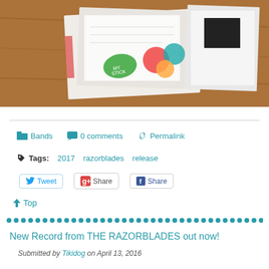[Figure (photo): Photo of papers, stickers, and promotional materials laid out on a wooden desk/table surface]
📁 Bands   💬 0 comments   🔗 Permalink
🏷 Tags:   2017   razorblades   release
Tweet   Share   Share
⬆ Top
• • • • • • • • • • • • • • • • • • • • • • • • • • • • • • • • • •
New Record from THE RAZORBLADES out now!
Submitted by Tikidog on April 13, 2016